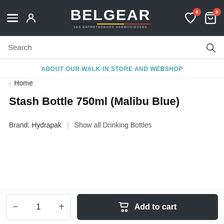BELGEAR — LES ENTRETENEURS HARMONIEUSES
Search
ABOUT OUR WALK-IN STORE AND WEBSHOP
< Home
Stash Bottle 750ml (Malibu Blue)
Brand: Hydrapak  |  Show all Drinking Bottles
1  Add to cart